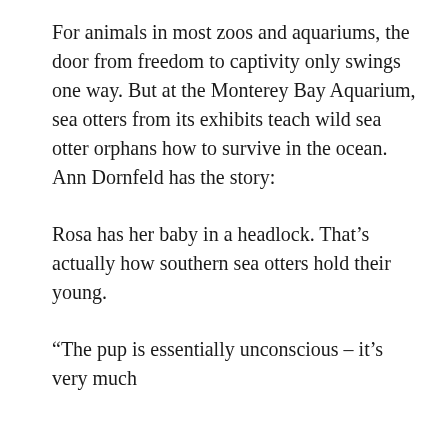For animals in most zoos and aquariums, the door from freedom to captivity only swings one way. But at the Monterey Bay Aquarium, sea otters from its exhibits teach wild sea otter orphans how to survive in the ocean. Ann Dornfeld has the story:
Rosa has her baby in a headlock. That’s actually how southern sea otters hold their young.
“The pup is essentially unconscious – it’s very much